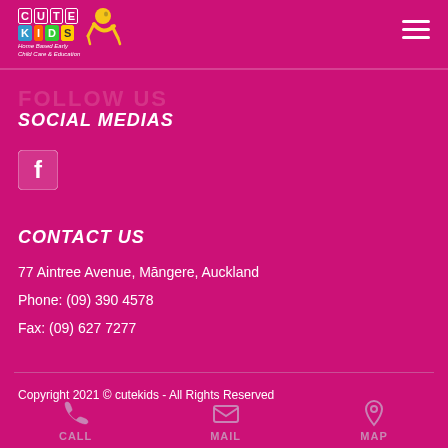[Figure (logo): Cute Kids logo with colorful letter blocks and baby crawling illustration, tagline: Home Based Early Child Care & Education]
SOCIAL MEDIAS
[Figure (illustration): Facebook icon - white F on dark rounded square]
CONTACT US
77 Aintree Avenue, Māngere, Auckland
Phone: (09) 390 4578
Fax: (09) 627 7277
Copyright 2021 © cutekids - All Rights Reserved
[Figure (illustration): Three bottom navigation icons: CALL (phone), MAIL (envelope), MAP (location pin)]